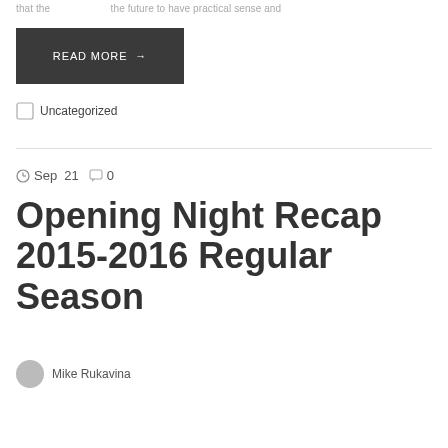that the ... the future to have practical sense and ...
READ MORE →
Uncategorized
Sep 21  0
Opening Night Recap 2015-2016 Regular Season
Mike Rukavina
blurred body text excerpt lines